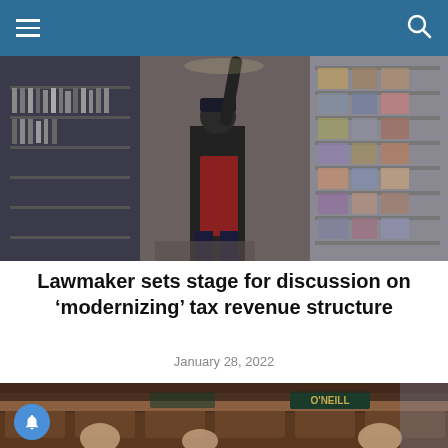Navigation bar with menu and search icons
[Figure (photo): Person reaching up to shelves in a store or workshop, surrounded by merchandise and tools on display racks]
Lawmaker sets stage for discussion on ‘modernizing’ tax revenue structure
January 28, 2022
[Figure (photo): Legislative chamber interior showing seats with name placards including O'NEILL, people seated]